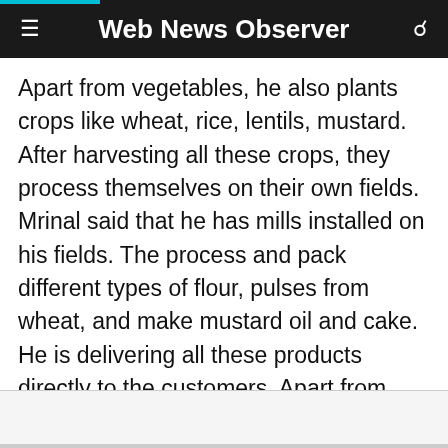Web News Observer
Apart from vegetables, he also plants crops like wheat, rice, lentils, mustard. After harvesting all these crops, they process themselves on their own fields. Mrinal said that he has mills installed on his fields. The process and pack different types of flour, pulses from wheat, and make mustard oil and cake. He is delivering all these products directly to the customers. Apart from this, they have also kept some animals used for manure in cow dung fields and from their milk, they prepare pure desi ghee.